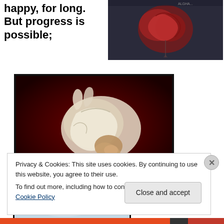happy, for long. But progress is possible;
[Figure (photo): Dark background photo showing a human heart with attached string/rope]
[Figure (photo): Person in white clothing curled up in fetal position on a dark red background, viewed from above]
[Figure (photo): Partial photo with light blue/grey sky or gradient]
Privacy & Cookies: This site uses cookies. By continuing to use this website, you agree to their use.
To find out more, including how to control cookies, see here: Cookie Policy